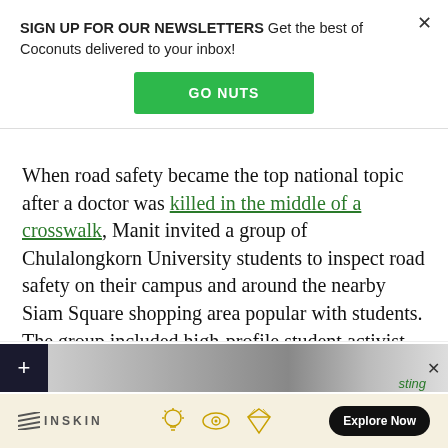SIGN UP FOR OUR NEWSLETTERS Get the best of Coconuts delivered to your inbox!
GO NUTS
When road safety became the top national topic after a doctor was killed in the middle of a crosswalk, Manit invited a group of Chulalongkorn University students to inspect road safety on their campus and around the nearby Siam Square shopping area popular with students. The group included high-profile student activist Netiwit Chotiphatphaisal, who was deposed as student president for his human rights campaigns.
INSKIN  Explore Now